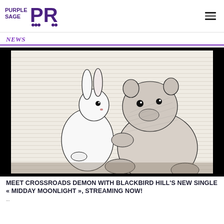PURPLE SAGE PR [logo] [hamburger menu]
NEWS
[Figure (illustration): Black and white woodcut-style illustration showing a white rabbit and a large bear or cat-like creature sitting together, facing each other, with detailed crosshatch shading and a dark border.]
MEET CROSSROADS DEMON WITH BLACKBIRD HILL'S NEW SINGLE « MIDDAY MOONLIGHT », STREAMING NOW!
...